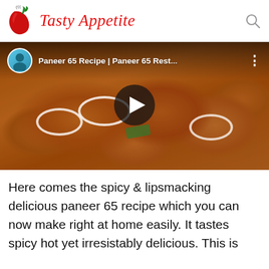Tasty Appetite
[Figure (screenshot): YouTube video thumbnail showing Paneer 65 dish - fried paneer pieces with onion rings on a plate. Video title: Paneer 65 Recipe | Paneer 65 Rest... with a play button overlay and channel avatar.]
Here comes the spicy & lipsmacking delicious paneer 65 recipe which you can now make right at home easily. It tastes spicy hot yet irresistably delicious. This is